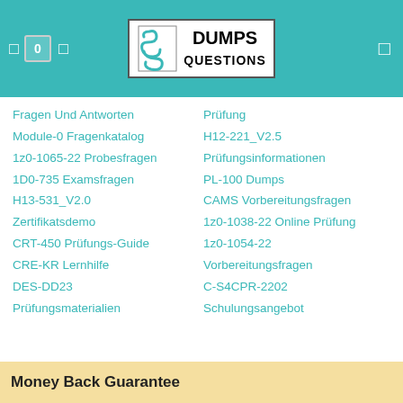DumpsQuestions
Fragen Und Antworten
Prüfung
Module-0 Fragenkatalog
H12-221_V2.5
1z0-1065-22 Probesfragen
Prüfungsinformationen
1D0-735 Examsfragen
PL-100 Dumps
H13-531_V2.0
CAMS Vorbereitungsfragen
Zertifikatsdemo
1z0-1038-22 Online Prüfung
CRT-450 Prüfungs-Guide
1z0-1054-22
CRE-KR Lernhilfe
Vorbereitungsfragen
DES-DD23
C-S4CPR-2202
Prüfungsmaterialien
Schulungsangebot
Show more
Money Back Guarantee